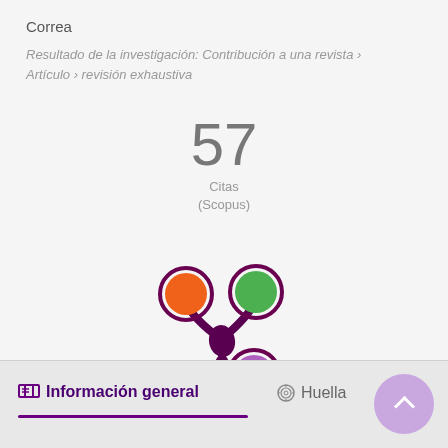Correa
Resultado de la investigación: Contribución a una revista › Artículo › revisión exhaustiva
57
Citas
(Scopus)
[Figure (logo): Altmetric donut logo with orange, green, and purple circles connected by dark purple splash shape]
Información general
Huella